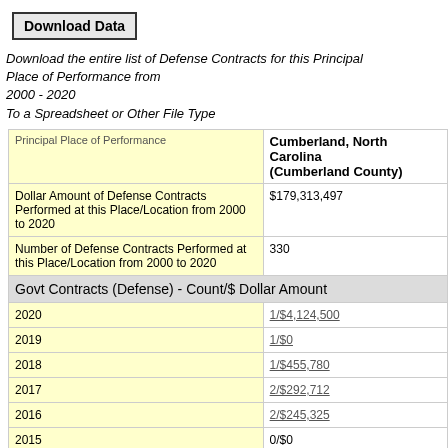Download Data
Download the entire list of Defense Contracts for this Principal Place of Performance from 2000 - 2020 To a Spreadsheet or Other File Type
| Principal Place of Performance | Cumberland, North Carolina (Cumberland County) |
| --- | --- |
| Dollar Amount of Defense Contracts Performed at this Place/Location from 2000 to 2020 | $179,313,497 |
| Number of Defense Contracts Performed at this Place/Location from 2000 to 2020 | 330 |
| Govt Contracts (Defense) - Count/$ Dollar Amount |  |
| 2020 | 1/$4,124,500 |
| 2019 | 1/$0 |
| 2018 | 1/$455,780 |
| 2017 | 2/$292,712 |
| 2016 | 2/$245,325 |
| 2015 | 0/$0 |
| 2014 | 0/$0 |
| 2013 | 3/$1,084,287 |
| 2012 | 0/$0 |
| 2011 | 0/$0 |
| 2010 | 1/$-1,397 |
| 2009 | 14/$433,175 |
| 2008 | 0/$0 |
| 2007 |  |